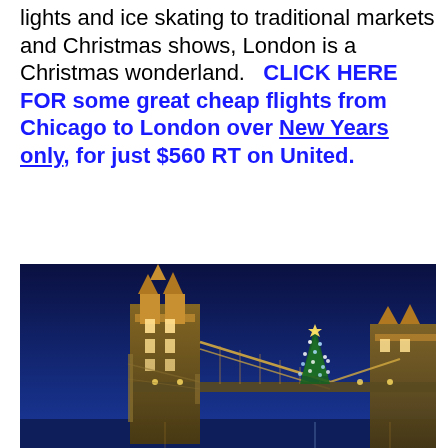lights and ice skating to traditional markets and Christmas shows, London is a Christmas wonderland.   CLICK HERE FOR some great cheap flights from Chicago to London over New Years only, for just $560 RT on United.
[Figure (photo): Nighttime photo of London Tower Bridge illuminated with golden lights and a decorated Christmas tree with blue lights in the foreground, against a deep blue night sky.]